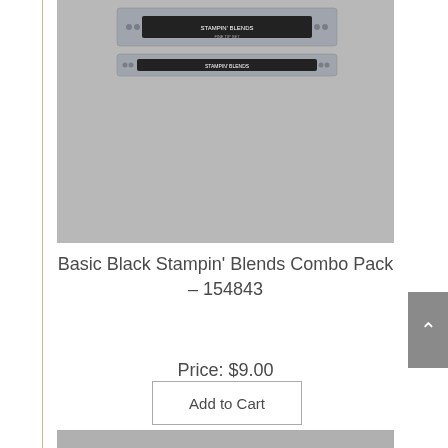[Figure (photo): Basic Black Stampin' Blends Combo Pack product photo showing two marker-style blending pens in packaging, gray background]
Basic Black Stampin' Blends Combo Pack – 154843
Price: $9.00
Add to Cart
[Figure (photo): Light blue/powder blue Stampin' Blends markers combo pack product photo showing two blending pens on gray background]